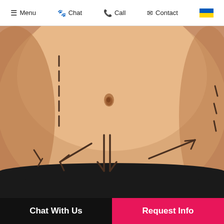Menu  Chat  Call  Contact
[Figure (photo): Close-up photo of a person's abdomen with surgical marking lines and directional arrows drawn in dark ink, indicating areas for liposuction or tummy tuck procedure. The person is wearing black underwear.]
Chat With Us   Request Info